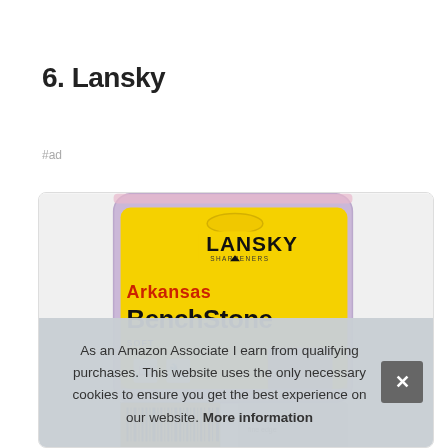6. Lansky
#ad
[Figure (photo): Lansky Arkansas BenchStone product packaging in yellow and purple, showing the Lansky Sharpeners logo and text 'Arkansas BenchStone SOFT' with product icons.]
As an Amazon Associate I earn from qualifying purchases. This website uses the only necessary cookies to ensure you get the best experience on our website. More information